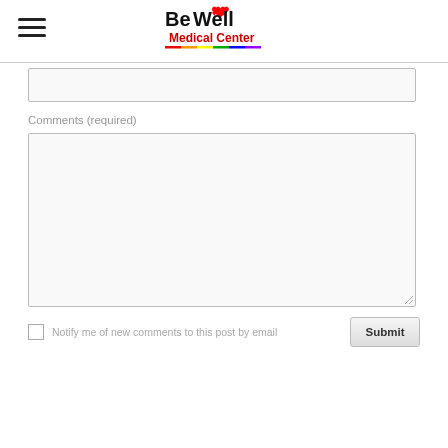[Figure (logo): Be Well Medical Center logo with rainbow heart icon, 'Be Well' in black bold text and 'Medical Center' in red bold text]
Comments (required)
Notify me of new comments to this post by email
Submit